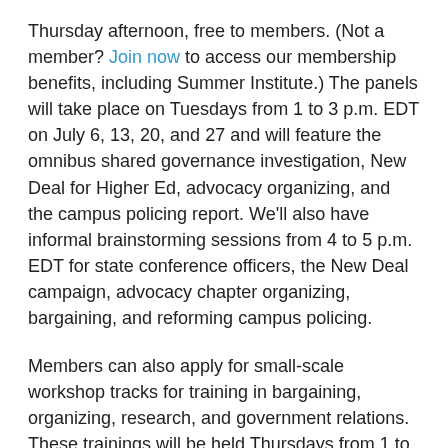Thursday afternoon, free to members. (Not a member? Join now to access our membership benefits, including Summer Institute.) The panels will take place on Tuesdays from 1 to 3 p.m. EDT on July 6, 13, 20, and 27 and will feature the omnibus shared governance investigation, New Deal for Higher Ed, advocacy organizing, and the campus policing report. We'll also have informal brainstorming sessions from 4 to 5 p.m. EDT for state conference officers, the New Deal campaign, advocacy chapter organizing, bargaining, and reforming campus policing.
Members can also apply for small-scale workshop tracks for training in bargaining, organizing, research, and government relations. These trainings will be held Thursdays from 1 to 3 p.m. EDT on July 8, 15, 22, and 29, in the Zoom meeting format, and will feature a variety of interactive and hands-on workshops.
Our sessions are aimed at the issues and challenges facing higher education today. Join hundreds of other academic